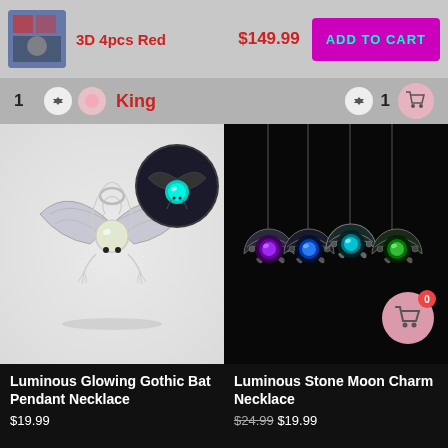[Figure (screenshot): E-commerce product listing page showing shopping cart row with thumbnail, product title '3D 4pcs Red', price '$149.99', and 'ADD TO CART' button in magenta with teal text]
3D 4pcs Red
$149.99
ADD TO CART
1
King
1
[Figure (photo): Silver bat-shaped luminous pendant necklace with glowing bead, shown on white background with inset circular image showing it glowing in the dark]
[Figure (photo): Four luminous stone moon charm necklaces glowing in purple, blue, teal, and green on black background]
Luminous Glowing Gothic Bat Pendant Necklace
$19.99
Luminous Stone Moon Charm Necklace
$24.99 $19.99